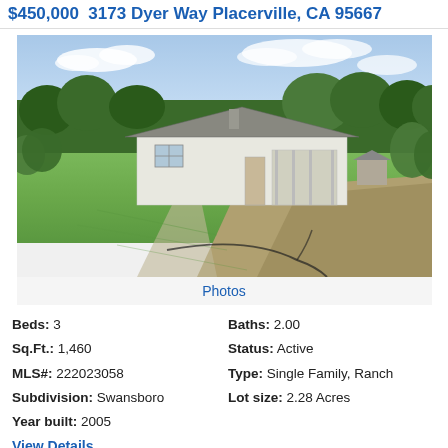$450,000  3173 Dyer Way Placerville, CA 95667
[Figure (photo): Exterior photo of a single-story white ranch house with gray roof, surrounded by green lawn and trees, blue sky with clouds]
Photos
| Beds: 3 | Baths: 2.00 |
| Sq.Ft.: 1,460 | Status: Active |
| MLS#: 222023058 | Type: Single Family, Ranch |
| Subdivision: Swansboro | Lot size: 2.28 Acres |
| Year built: 2005 |  |
View Details